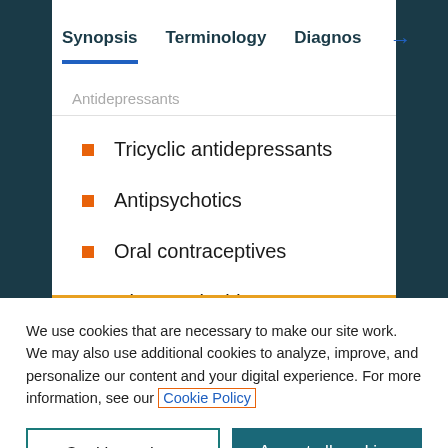Synopsis | Terminology | Diagnos →
Antidepressants
Tricyclic antidepressants
Antipsychotics
Oral contraceptives
Glucocorticoids
We use cookies that are necessary to make our site work. We may also use additional cookies to analyze, improve, and personalize our content and your digital experience. For more information, see our Cookie Policy
Cookie settings
Accept all cookies